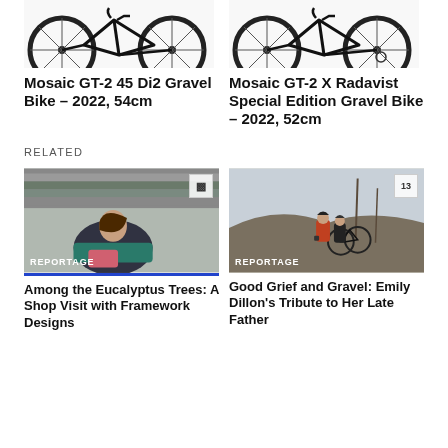[Figure (photo): Mosaic GT-2 45 Di2 Gravel Bike photo showing wheels and frame, top cropped]
Mosaic GT-2 45 Di2 Gravel Bike - 2022, 54cm
[Figure (photo): Mosaic GT-2 X Radavist Special Edition Gravel Bike photo showing wheels and frame, top cropped]
Mosaic GT-2 X Radavist Special Edition Gravel Bike - 2022, 52cm
RELATED
[Figure (photo): Reportage photo of a person working with fabric rolls in a shop, with a video/chat icon badge]
Among the Eucalyptus Trees: A Shop Visit with Framework Designs
[Figure (photo): Reportage photo of two people standing with a mountain bike on gravel terrain with hills in the background, badge showing 13]
Good Grief and Gravel: Emily Dillon's Tribute to Her Late Father